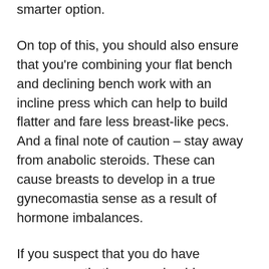smarter option.
On top of this, you should also ensure that you're combining your flat bench and declining bench work with an incline press which can help to build flatter and fare less breast-like pecs. And a final note of caution – stay away from anabolic steroids. These can cause breasts to develop in a true gynecomastia sense as a result of hormone imbalances.
If you suspect that you do have gynecomastia then you should see your doctor and consider supplementing with the powerful Gynectrolfor